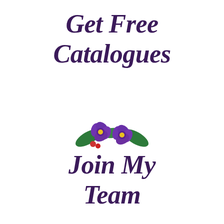Get Free Catalogues
[Figure (illustration): A small watercolor-style floral bouquet with two purple flowers with yellow centers, green leaves, and small red flowers/berries]
Join My Team